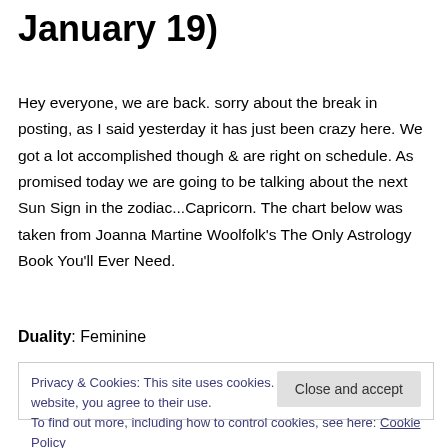January 19)
Hey everyone, we are back. sorry about the break in posting, as I said yesterday it has just been crazy here. We got a lot accomplished though & are right on schedule. As promised today we are going to be talking about the next Sun Sign in the zodiac...Capricorn. The chart below was taken from Joanna Martine Woolfolk's The Only Astrology Book You'll Ever Need.
Duality: Feminine
Privacy & Cookies: This site uses cookies. By continuing to use this website, you agree to their use.
To find out more, including how to control cookies, see here: Cookie Policy